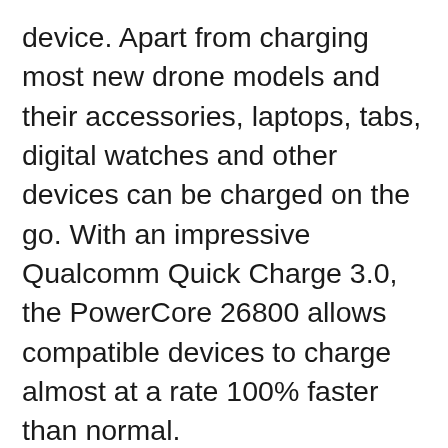device. Apart from charging most new drone models and their accessories, laptops, tabs, digital watches and other devices can be charged on the go. With an impressive Qualcomm Quick Charge 3.0, the PowerCore 26800 allows compatible devices to charge almost at a rate 100% faster than normal.
At 26800mAh of power, the capacity of this extra storage device is colossal. Its hard surface also ensures durability in case of falls. Connect it to most DJI devices and more recent drone models as you walk along and the drones get juiced up at pretty decent charging speeds. Out of box, you also get a 2X Micro USB Cable, a travel pouch and a guide.